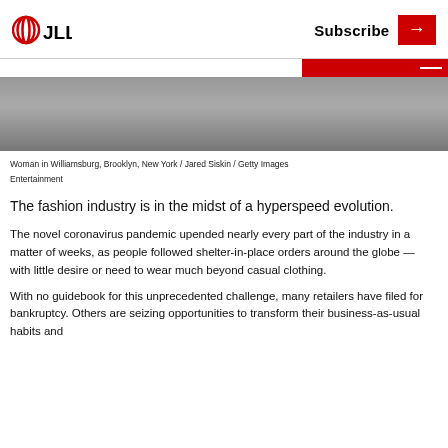JLL | Subscribe →
[Figure (photo): Partial view of a woman walking on a street in Williamsburg, Brooklyn, New York, showing legs and dark clothing]
Woman in Williamsburg, Brooklyn, New York / Jared Siskin / Getty Images
Entertainment
The fashion industry is in the midst of a hyperspeed evolution.
The novel coronavirus pandemic upended nearly every part of the industry in a matter of weeks, as people followed shelter-in-place orders around the globe — with little desire or need to wear much beyond casual clothing.
With no guidebook for this unprecedented challenge, many retailers have filed for bankruptcy. Others are seizing opportunities to transform their business-as-usual habits and